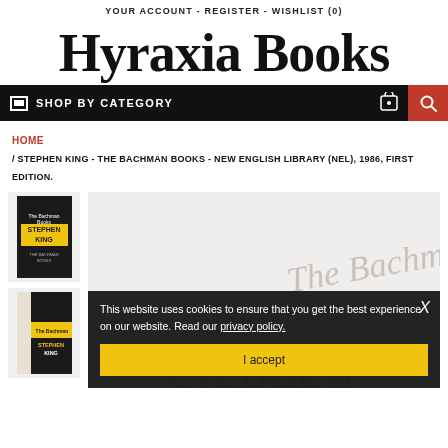YOUR ACCOUNT - REGISTER - WISHLIST (0)
Hyraxia Books
SHOP BY CATEGORY
HOME / STEPHEN KING - THE BACHMAN BOOKS - NEW ENGLISH LIBRARY (NEL), 1986, FIRST EDITION.
[Figure (screenshot): Thumbnail image of The Bachman Books by Stephen King, black cover with 'STEPHEN KING' in yellow text]
[Figure (screenshot): Thumbnail image of The Bachman Books spine view]
[Figure (screenshot): Main product image of The Bachman Books with cookie consent overlay. Cookie text reads: This website uses cookies to ensure that you get the best experience on our website. Read our privacy policy. With an I accept button.]